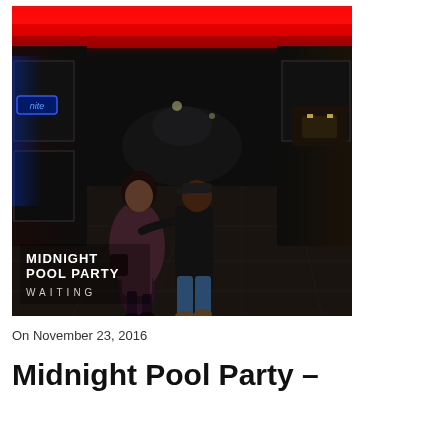[Figure (photo): Night street scene showing the backs of a couple walking arm-in-arm down a city footpath with neon lights and red ceiling lights. Text overlay in lower left reads 'MIDNIGHT POOL PARTY' in bold white and 'WAITING' in spaced white letters. Album artwork for Midnight Pool Party's 'Waiting'.]
On November 23, 2016
Midnight Pool Party – Waiting